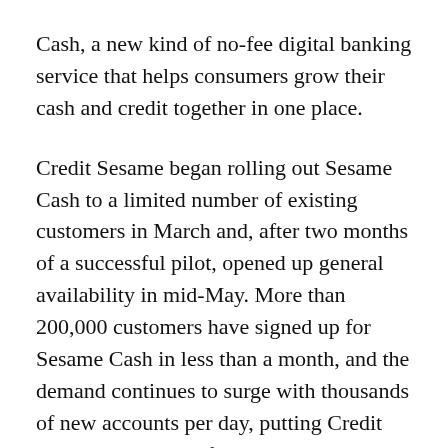Cash, a new kind of no-fee digital banking service that helps consumers grow their cash and credit together in one place.
Credit Sesame began rolling out Sesame Cash to a limited number of existing customers in March and, after two months of a successful pilot, opened up general availability in mid-May. More than 200,000 customers have signed up for Sesame Cash in less than a month, and the demand continues to surge with thousands of new accounts per day, putting Credit Sesame among the fastest growing digital banking service providers in the U.S. Credit Sesame has more than 15 million members, and 62 percent have expressed interest in Sesame Cash for better cash and credit management.